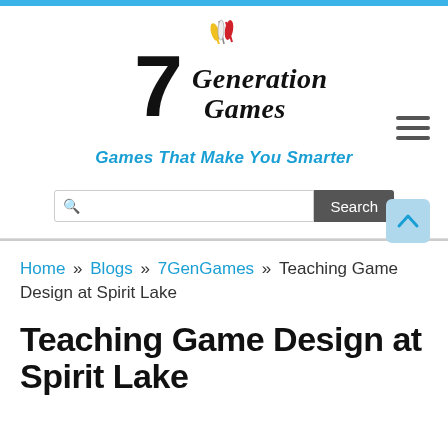[Figure (logo): 7 Generation Games logo with feathers/rocket and stylized text, tagline 'Games That Make You Smarter' in blue italic]
Search (search input and button)
Home » Blogs » 7GenGames » Teaching Game Design at Spirit Lake
Teaching Game Design at Spirit Lake